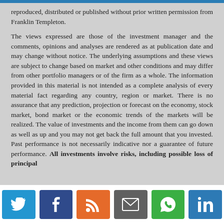reproduced, distributed or published without prior written permission from Franklin Templeton.

The views expressed are those of the investment manager and the comments, opinions and analyses are rendered as at publication date and may change without notice. The underlying assumptions and these views are subject to change based on market and other conditions and may differ from other portfolio managers or of the firm as a whole. The information provided in this material is not intended as a complete analysis of every material fact regarding any country, region or market. There is no assurance that any prediction, projection or forecast on the economy, stock market, bond market or the economic trends of the markets will be realized. The value of investments and the income from them can go down as well as up and you may not get back the full amount that you invested. Past performance is not necessarily indicative nor a guarantee of future performance. All investments involve risks, including possible loss of principal
[Figure (infographic): Social media sharing buttons: Twitter (blue), Facebook (dark blue), RSS (orange), Email (grey), WhatsApp (green), LinkedIn (blue)]